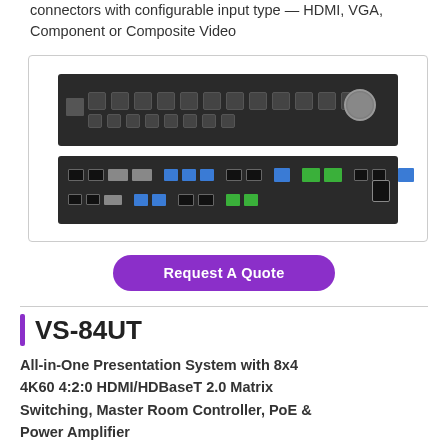connectors with configurable input type — HDMI, VGA, Component or Composite Video
[Figure (photo): Front and rear panel views of a Kramer AV matrix switcher hardware unit showing buttons, ports, connectors including HDMI, DVI, RJ45, and power connector]
Request A Quote
VS-84UT
All-in-One Presentation System with 8x4 4K60 4:2:0 HDMI/HDBaseT 2.0 Matrix Switching, Master Room Controller, PoE & Power Amplifier